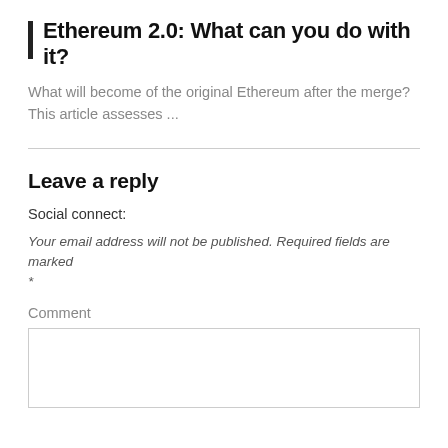Ethereum 2.0: What can you do with it?
What will become of the original Ethereum after the merge? This article assesses ...
Leave a reply
Social connect:
Your email address will not be published. Required fields are marked *
Comment